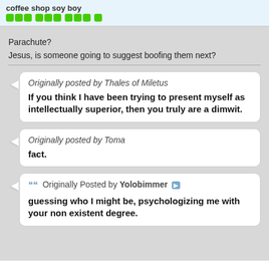coffee shop soy boy
Parachute?
Jesus, is someone going to suggest boofing them next?
Originally posted by Thales of Miletus
If you think I have been trying to present myself as intellectually superior, then you truly are a dimwit.
Originally posted by Toma
fact.
Originally Posted by Yolobimmer
guessing who I might be, psychologizing me with your non existent degree.